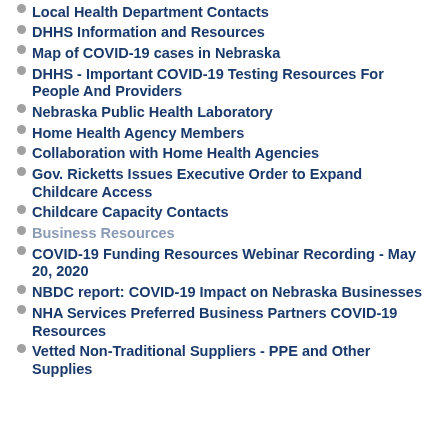Local Health Department Contacts
DHHS Information and Resources
Map of COVID-19 cases in Nebraska
DHHS - Important COVID-19 Testing Resources For People And Providers
Nebraska Public Health Laboratory
Home Health Agency Members
Collaboration with Home Health Agencies
Gov. Ricketts Issues Executive Order to Expand Childcare Access
Childcare Capacity Contacts
Business Resources
COVID-19 Funding Resources Webinar Recording - May 20, 2020
NBDC report: COVID-19 Impact on Nebraska Businesses
NHA Services Preferred Business Partners COVID-19 Resources
Vetted Non-Traditional Suppliers - PPE and Other Supplies